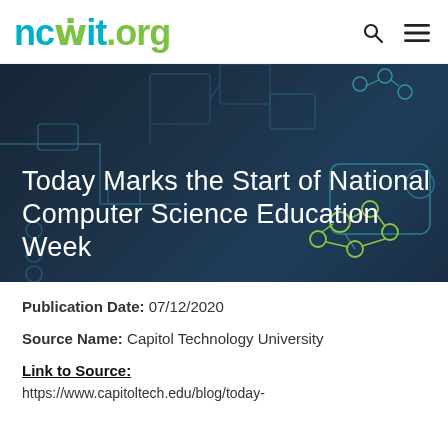ncwit.org
[Figure (screenshot): Dark blue banner with circuit/molecule pattern overlay, containing white title text 'Today Marks the Start of National Computer Science Education Week']
Today Marks the Start of National Computer Science Education Week
Publication Date: 07/12/2020
Source Name: Capitol Technology University
Link to Source:
https://www.capitoltech.edu/blog/today-